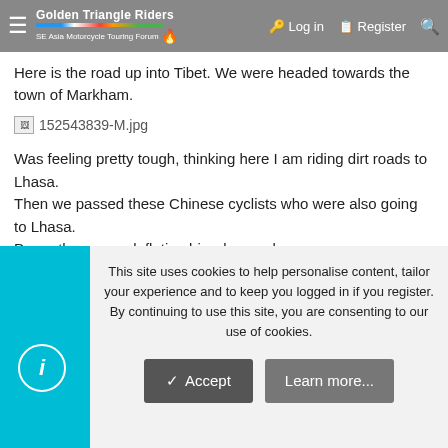Golden Triangle Riders — SE Asia Motorcycle Touring Forums | Log in | Register
Here is the road up into Tibet. We were headed towards the town of Markham.
[Figure (photo): Broken image placeholder: 152543839-M.jpg]
Was feeling pretty tough, thinking here I am riding dirt roads to Lhasa.
Then we passed these Chinese cyclists who were also going to Lhasa.
Damn those ego deflating bicycle people....
[Figure (photo): Broken image placeholder: 152543845-M.jpg]
Here we are the town of Markham which is about 100 kilometers into Tibet. Some local kids greet us and strike amusing poses.
[Figure (photo): Broken image placeholder: 152543862-M.jpg]
This site uses cookies to help personalise content, tailor your experience and to keep you logged in if you register.
By continuing to use this site, you are consenting to our use of cookies.